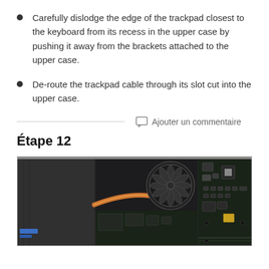Carefully dislodge the edge of the trackpad closest to the keyboard from its recess in the upper case by pushing it away from the brackets attached to the upper case.
De-route the trackpad cable through its slot cut into the upper case.
Ajouter un commentaire
Étape 12
[Figure (photo): Internal view of a laptop showing a cooling fan, copper heat pipe, motherboard components and circuitry, and what appears to be a battery/storage area on the left side.]